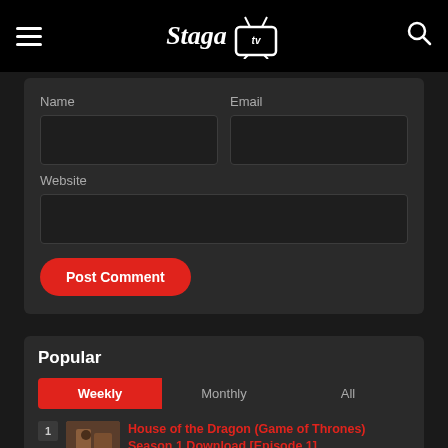Staga TV
Name
Email
Website
Post Comment
Popular
Weekly | Monthly | All
1 House of the Dragon (Game of Thrones) Season 1 Download [Episode 1]